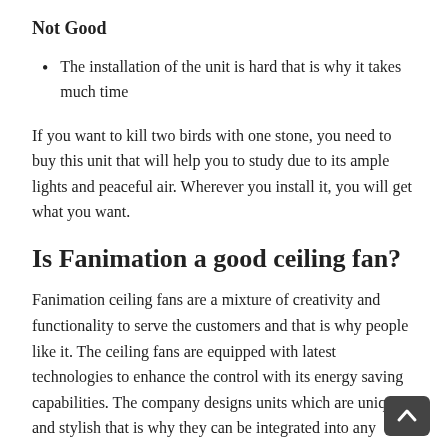Not Good
The installation of the unit is hard that is why it takes much time
If you want to kill two birds with one stone, you need to buy this unit that will help you to study due to its ample lights and peaceful air. Wherever you install it, you will get what you want.
Is Fanimation a good ceiling fan?
Fanimation ceiling fans are a mixture of creativity and functionality to serve the customers and that is why people like it. The ceiling fans are equipped with latest technologies to enhance the control with its energy saving capabilities. The company designs units which are unique and stylish that is why they can be integrated into any space.
Most ceiling fans from Fanimation are wet rated. It means that w